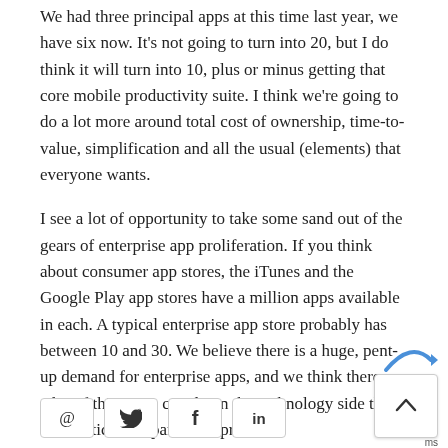We had three principal apps at this time last year, we have six now. It's not going to turn into 20, but I do think it will turn into 10, plus or minus getting that core mobile productivity suite. I think we're going to do a lot more around total cost of ownership, time-to-value, simplification and all the usual (elements) that everyone wants.
I see a lot of opportunity to take some sand out of the gears of enterprise app proliferation. If you think about consumer app stores, the iTunes and the Google Play app stores have a million apps available in each. A typical enterprise app store probably has between 10 and 30. We believe there is a huge, pent-up demand for enterprise apps, and we think there are a lot of things we can do on the technology side that can unstick that particular problem.